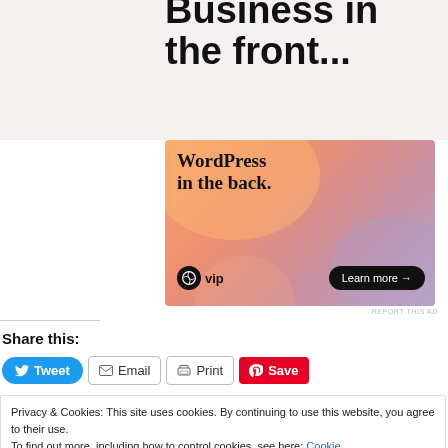[Figure (other): WordPress VIP advertisement banner with orange-pink gradient background, showing 'WordPress in the back.' text with a 'Learn more →' button and WP VIP logo]
REPORT THIS AD
Share this:
[Figure (other): Share buttons row: Tweet (blue), Email (outline), Print (outline), Save (red Pinterest)]
Privacy & Cookies: This site uses cookies. By continuing to use this website, you agree to their use.
To find out more, including how to control cookies, see here: Cookie Policy